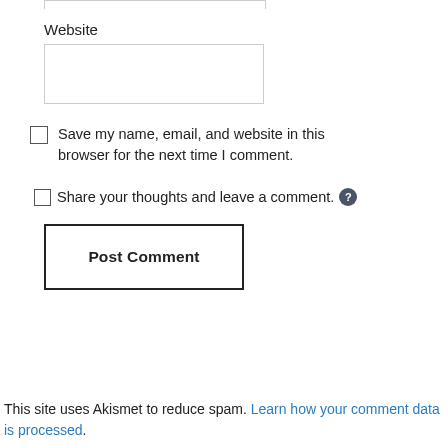Website
[Figure (other): Website text input field (empty)]
[Figure (other): Checkbox — Save my name, email, and website in this browser for the next time I comment.]
Save my name, email, and website in this browser for the next time I comment.
[Figure (other): Checkbox — Share your thoughts and leave a comment. (with info icon)]
Share your thoughts and leave a comment.
[Figure (other): Post Comment button]
This site uses Akismet to reduce spam. Learn how your comment data is processed.